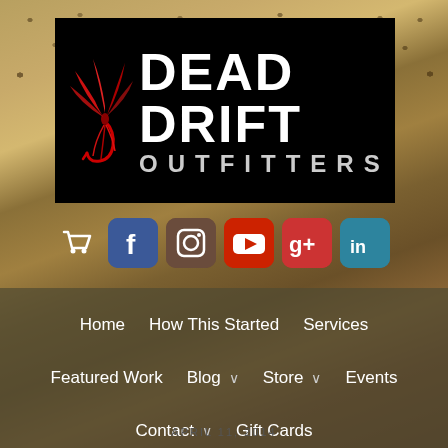[Figure (logo): Dead Drift Outfitters logo on black background with red fly fishing lure graphic, white text 'DEAD DRIFT' large and 'OUTFITTERS' spaced below]
[Figure (infographic): Row of social media icons: shopping cart (white), Facebook (blue), Instagram (brown), YouTube (red), Google+ (red), LinkedIn (teal)]
Home
How This Started
Services
Featured Work
Blog
Store
Events
Contact
Gift Cards
APRIL 11, 2014